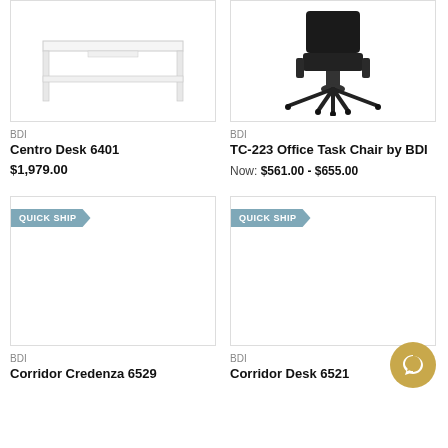[Figure (photo): White desk product photo - Centro Desk 6401]
[Figure (photo): Black office task chair product photo - TC-223]
BDI
Centro Desk 6401
$1,979.00
BDI
TC-223 Office Task Chair by BDI
Now: $561.00 - $655.00
[Figure (photo): Product image placeholder with QUICK SHIP badge - Corridor Credenza 6529]
[Figure (photo): Product image placeholder with QUICK SHIP badge - Corridor Desk 6521]
BDI
Corridor Credenza 6529
BDI
Corridor Desk 6521